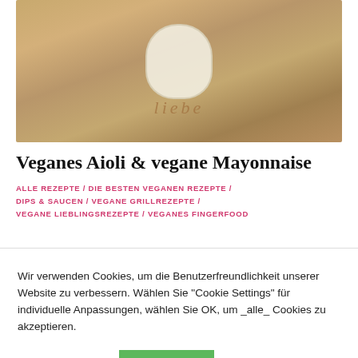[Figure (photo): Overhead photo of a glass jar containing vegan aioli/mayonnaise with a white spoon, placed on a round wooden cutting board with garlic cloves nearby and 'liebe' engraved in the wood.]
Veganes Aioli & vegane Mayonnaise
ALLE REZEPTE / DIE BESTEN VEGANEN REZEPTE / DIPS & SAUCEN / VEGANE GRILLREZEPTE / VEGANE LIEBLINGSREZEPTE / VEGANES FINGERFOOD
Wir verwenden Cookies, um die Benutzerfreundlichkeit unserer Website zu verbessern. Wählen Sie "Cookie Settings" für individuelle Anpassungen, wählen Sie OK, um _alle_ Cookies zu akzeptieren.
Cookie settings   ACCEPT